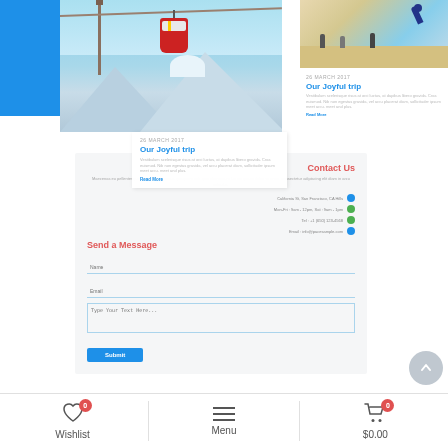[Figure (screenshot): Blue rectangle placeholder image on left side of blog card layout]
[Figure (photo): Cable car gondola over snowy mountain peaks with a red gondola car suspended from cables]
26 MARCH 2017
Our Joyful trip
Vestibulum scelerisque risus at orci luctus, at dapibus libero gravida. Cras euismod. Nib non egestas gravida, vel arcu placerat diam, sollicituder ipsum meet arcu. meet and plus.
Read More
[Figure (photo): Person skateboarding on a beach/outdoor area by the ocean]
26 MARCH 2017
Our Joyful trip
Vestibulum scelerisque risus at orci luctus, at dapibus libero gravida. Cras euismod. Nib non egestas gravida, vel arcu placerat diam, sollicituder ipsum meet arcu. meet and plus.
Read More
Contact Us
Maecenas eu pellentesque Nibh tempus purus quisquam edit quis elementum Lorem ipsum dolor sit amet, consectetur adipiscing elit diam in arcu ridiculus.
California St, San Francisco, CA Hills
Mon-Fri : 9am - 12pm, Sat : 9am - 1pm
Tel : +1 (650) 123-4568
Email : info@pacesample.com
Send a Message
Name
Email
Type Your Text Here...
Submit
Subscribe now
Enter your Email
Wishlist
Menu
$0.00